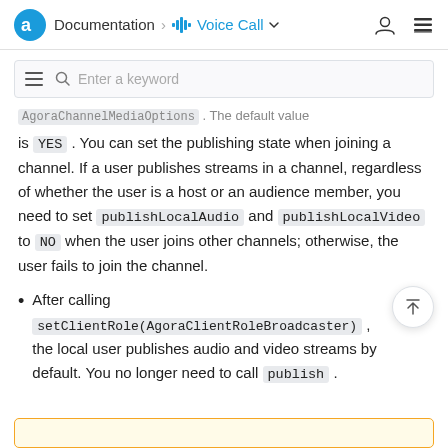Documentation > Voice Call
Enter a keyword
...AgoraChannelMediaOptions. The default value is YES. You can set the publishing state when joining a channel. If a user publishes streams in a channel, regardless of whether the user is a host or an audience member, you need to set publishLocalAudio and publishLocalVideo to NO when the user joins other channels; otherwise, the user fails to join the channel.
After calling setClientRole(AgoraClientRoleBroadcaster), the local user publishes audio and video streams by default. You no longer need to call publish.